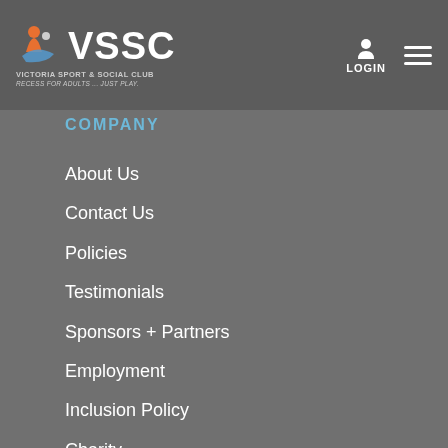[Figure (logo): VSSC Victoria Sport & Social Club logo with tagline 'Recess For Adults ... Just Play.']
COMPANY
About Us
Contact Us
Policies
Testimonials
Sponsors + Partners
Employment
Inclusion Policy
Charity
Corporate Events
Newsletter Sign-Up
Read 'The Huddle"